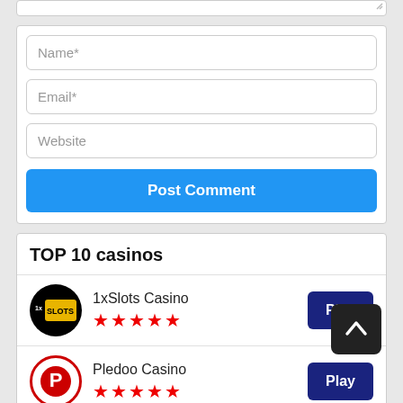[Figure (screenshot): Top portion of a comment form showing a textarea stub with resize handle]
Name*
Email*
Website
Post Comment
TOP 10 casinos
1xSlots Casino ★★★★★
Pledoo Casino ★★★★★
Booi Casino ★★★★★